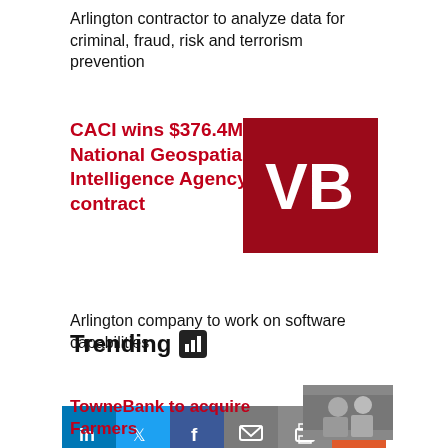Arlington contractor to analyze data for criminal, fraud, risk and terrorism prevention
CACI wins $376.4M National Geospatial-Intelligence Agency contract
[Figure (logo): VB logo — white letters VB on dark red/maroon square background]
Arlington company to work on software capabilities
[Figure (infographic): Social sharing bar with buttons: LinkedIn (blue), Twitter (blue), Facebook (dark blue), Email (grey), Print (grey), More/plus (orange-red)]
Trending
TowneBank to acquire Farmers
[Figure (photo): Small thumbnail photo of people, partially visible]